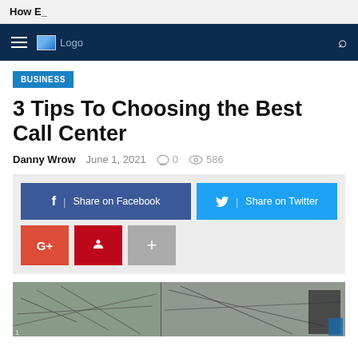How E_
[Figure (logo): Navigation bar with hamburger menu, logo placeholder, and search icon on dark navy background]
BUSINESS
3 Tips To Choosing the Best Call Center
Danny Wrow   June 1, 2021   0   586
[Figure (infographic): Social share buttons: Share on Facebook (dark blue), Share on Twitter (light blue), G+ (red), Pinterest (dark red), More (+) (gray)]
[Figure (photo): Partially visible article image showing a sketched or drawn map/diagram in grayscale tones]